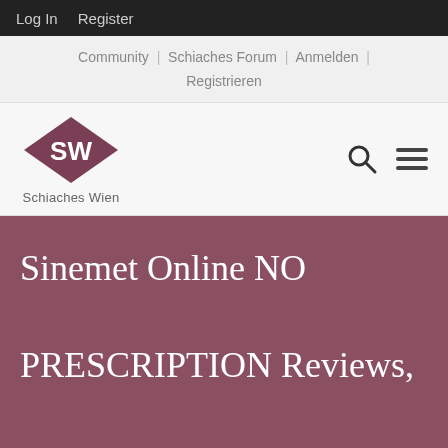Log In   Register
Community | Schiaches Forum | Anmelden | Registrieren
[Figure (logo): Schiaches Wien diamond logo with SW letters in mauve/dark red color, text 'Schiaches Wien' below]
Sinemet Online NO PRESCRIPTION Reviews, Sinemet er